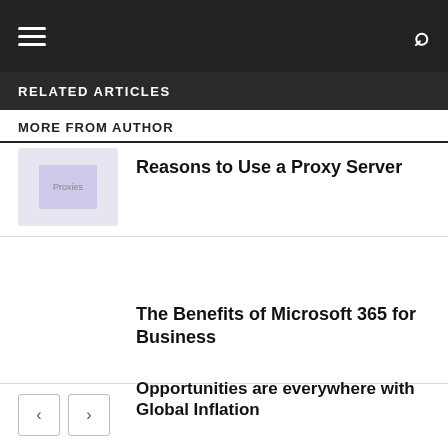RELATED ARTICLES
MORE FROM AUTHOR
[Figure (photo): Thumbnail image with proxy server illustration, light purple background]
Reasons to Use a Proxy Server
The Benefits of Microsoft 365 for Business
Opportunities are everywhere with Global Inflation